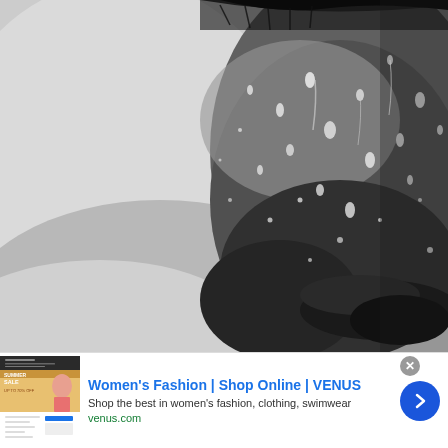[Figure (photo): Close-up black and white photo of a man's face with water droplets on skin and beard stubble, showing lower half of face and neck/shoulder area]
[Figure (screenshot): Advertisement banner for VENUS women's fashion. Shows a small thumbnail of a Venus website summer sale promotion with a woman in pink. Ad text reads: Women's Fashion | Shop Online | VENUS. Shop the best in women's fashion, clothing, swimwear. venus.com. Has a blue circular arrow button on the right. Close button (x) in grey circle at top right of ad.]